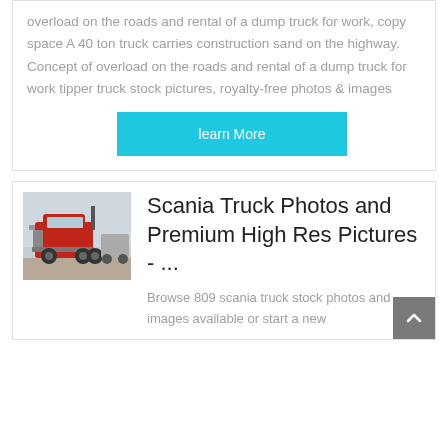overload on the roads and rental of a dump truck for work, copy space A 40 ton truck carries construction sand on the highway. Concept of overload on the roads and rental of a dump truck for work tipper truck stock pictures, royalty-free photos & images
learn More
[Figure (photo): Red Scania truck tractor unit parked outdoors]
Scania Truck Photos and Premium High Res Pictures - ...
Browse 809 scania truck stock photos and images available or start a new